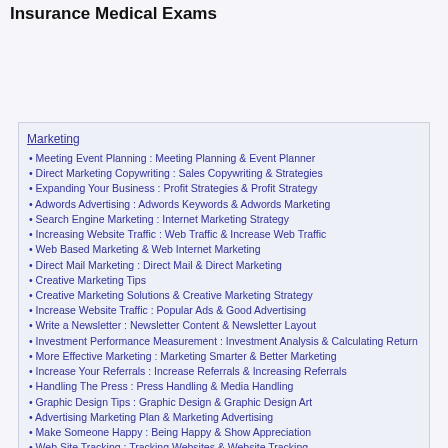Insurance Medical Exams
Marketing
Meeting Event Planning : Meeting Planning & Event Planner
Direct Marketing Copywriting : Sales Copywriting & Strategies
Expanding Your Business : Profit Strategies & Profit Strategy
Adwords Advertising : Adwords Keywords & Adwords Marketing
Search Engine Marketing : Internet Marketing Strategy
Increasing Website Traffic : Web Traffic & Increase Web Traffic
Web Based Marketing & Web Internet Marketing
Direct Mail Marketing : Direct Mail & Direct Marketing
Creative Marketing Tips
Creative Marketing Solutions & Creative Marketing Strategy
Increase Website Traffic : Popular Ads & Good Advertising
Write a Newsletter : Newsletter Content & Newsletter Layout
Investment Performance Measurement : Investment Analysis & Calculating Return
More Effective Marketing : Marketing Smarter & Better Marketing
Increase Your Referrals : Increase Referrals & Increasing Referrals
Handling The Press : Press Handling & Media Handling
Graphic Design Tips : Graphic Design & Graphic Design Art
Advertising Marketing Plan & Marketing Advertising
Make Someone Happy : Being Happy & Show Appreciation
Web Site Tracking : Tracking Websites & Website Tracking